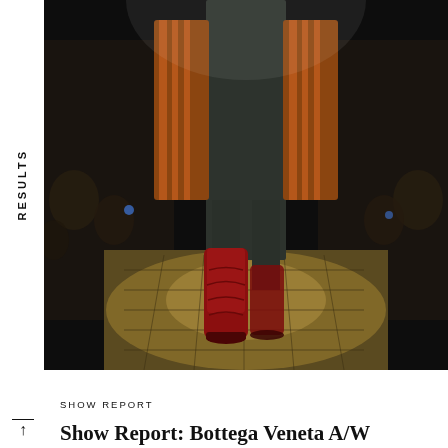RESULTS
[Figure (photo): A fashion runway photo showing a model walking toward the camera wearing dark trousers, striped sleeves, and tall red leather boots on a lit wooden runway, with audience seated on both sides in the background.]
SHOW REPORT
Show Report: Bottega Veneta A/W